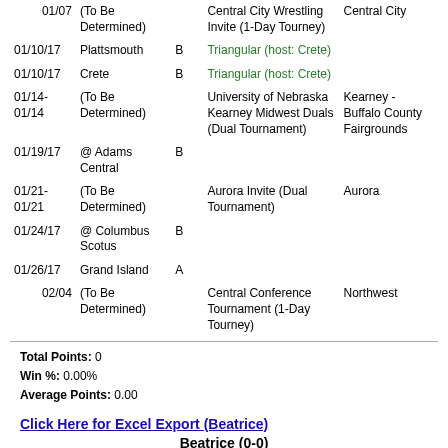| Date | Opponent | Class | Tournament Name | Tournament Location |
| --- | --- | --- | --- | --- |
| 01/07 | (To Be Determined) |  | Central City Wrestling Invite (1-Day Tourney) | Central City |
| 01/10/17 | Plattsmouth | B | Triangular (host: Crete) |  |
| 01/10/17 | Crete | B | Triangular (host: Crete) |  |
| 01/14-01/14 | (To Be Determined) |  | University of Nebraska Kearney Midwest Duals (Dual Tournament) | Kearney - Buffalo County Fairgrounds |
| 01/19/17 | @ Adams Central | B |  |  |
| 01/21-01/21 | (To Be Determined) |  | Aurora Invite (Dual Tournament) | Aurora |
| 01/24/17 | @ Columbus Scotus | B |  |  |
| 01/26/17 | Grand Island | A |  |  |
| 02/04 | (To Be Determined) |  | Central Conference Tournament (1-Day Tourney) | Northwest |
Total Points: 0
Win %: 0.00%
Average Points: 0.00
Click Here for Excel Export (Beatrice)
Beatrice (0-0)
| Date | Opponent | Class | Tournament Name | Tournament Location |
| --- | --- | --- | --- | --- |
| 12/03 | (To Be Determined) |  | Pius X Invite (1-Day Tourney) | Lincoln Pius X |